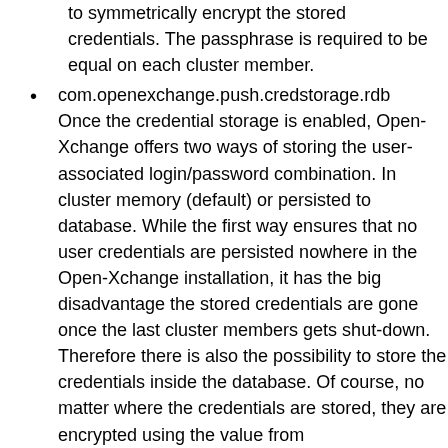to symmetrically encrypt the stored credentials. The passphrase is required to be equal on each cluster member.
com.openexchange.push.credstorage.rdb Once the credential storage is enabled, Open-Xchange offers two ways of storing the user-associated login/password combination. In cluster memory (default) or persisted to database. While the first way ensures that no user credentials are persisted nowhere in the Open-Xchange installation, it has the big disadvantage the stored credentials are gone once the last cluster members gets shut-down. Therefore there is also the possibility to store the credentials inside the database. Of course, no matter where the credentials are stored, they are encrypted using the value from com.openexchange.push.credstorage.passcrypt" property
With setting the properties above the configuration on